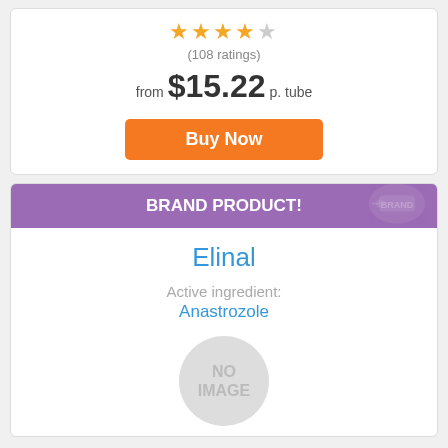[Figure (other): Star rating: 4.5 out of 5 stars]
(108 ratings)
from $15.22 p. tube
Buy Now
BRAND PRODUCT!
Elinal
Active ingredient:
Anastrozole
[Figure (other): No image placeholder circle with text 'NO IMAGE']